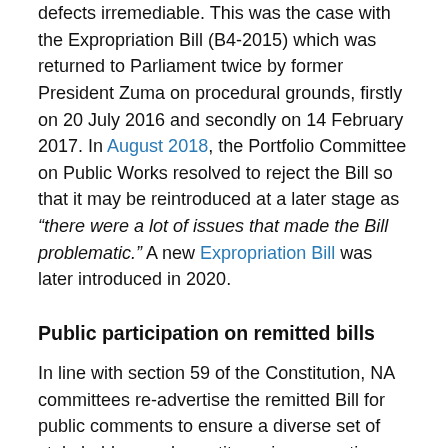defects irremediable. This was the case with the Expropriation Bill (B4-2015) which was returned to Parliament twice by former President Zuma on procedural grounds, firstly on 20 July 2016 and secondly on 14 February 2017. In August 2018, the Portfolio Committee on Public Works resolved to reject the Bill so that it may be reintroduced at a later stage as “there were a lot of issues that made the Bill problematic.” A new Expropriation Bill was later introduced in 2020.
Public participation on remitted bills
In line with section 59 of the Constitution, NA committees re-advertise the remitted Bill for public comments to ensure a diverse set of stakeholders and constituencies are active participants in the reconsideration process.
The committee makes a call on the sufficiency of the public participation process based on an assessment of the materiality of the changes to be made on the Bill to address the President’s reservations; the relationship taken as a whole to the original clauses that were subject to public comment; and finally the benefit of insulating the Bill against